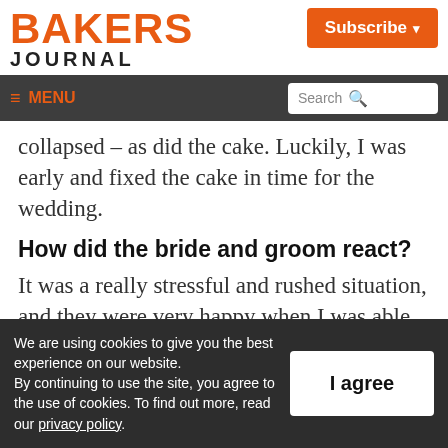BAKERS JOURNAL
Subscribe
≡ MENU  Search
collapsed – as did the cake. Luckily, I was early and fixed the cake in time for the wedding.
How did the bride and groom react?
It was a really stressful and rushed situation, and they were very happy when I was able to fix it. Throughout the years, I've learned to be
We are using cookies to give you the best experience on our website.
By continuing to use the site, you agree to the use of cookies. To find out more, read our privacy policy.